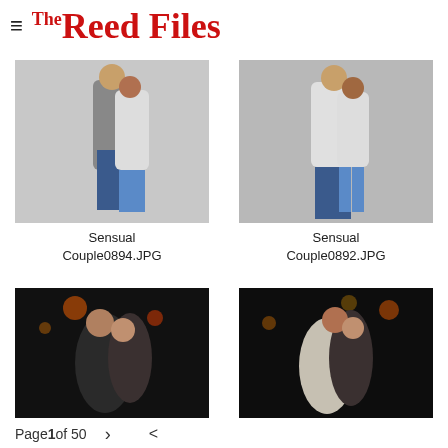The Reed Files
[Figure (photo): A couple embracing intimately in a studio against a light grey background. Man in jeans, woman in shorts and tank top.]
Sensual Couple0894.JPG
[Figure (photo): A couple embracing intimately in a studio against a grey background. Man in jeans and tank top, woman in shorts.]
Sensual Couple0892.JPG
[Figure (photo): A couple kissing outdoors at night with bokeh lights in background.]
[Figure (photo): A couple embracing outdoors at night with bokeh lights in background.]
Page 1 of 50